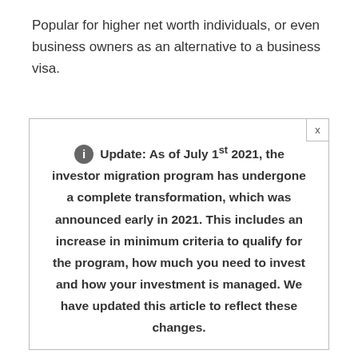Popular for higher net worth individuals, or even business owners as an alternative to a business visa.
Update: As of July 1st 2021, the investor migration program has undergone a complete transformation, which was announced early in 2021. This includes an increase in minimum criteria to qualify for the program, how much you need to invest and how your investment is managed. We have updated this article to reflect these changes.